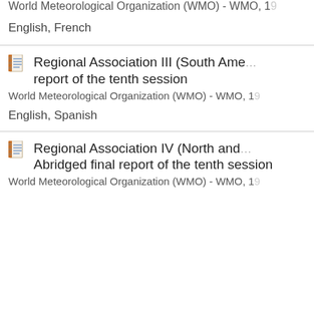World Meteorological Organization (WMO) - WMO, 19...
English, French
Regional Association III (South Ame... report of the tenth session
World Meteorological Organization (WMO) - WMO, 19...
English, Spanish
Regional Association IV (North and ... Abridged final report of the tenth session
World Meteorological Organization (WMO) - WMO, 19...